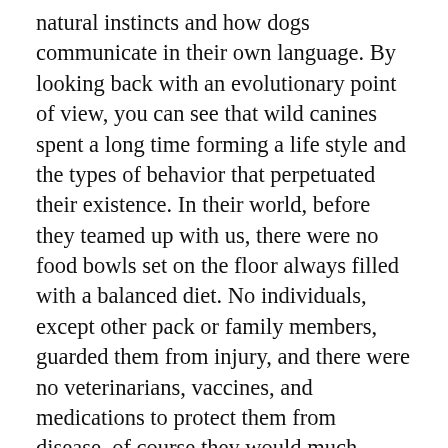natural instincts and how dogs communicate in their own language. By looking back with an evolutionary point of view, you can see that wild canines spent a long time forming a life style and the types of behavior that perpetuated their existence. In their world, before they teamed up with us, there were no food bowls set on the floor always filled with a balanced diet. No individuals, except other pack or family members, guarded them from injury, and there were no veterinarians, vaccines, and medications to protect them from disease. of course they would much prefer being inside and getting fed wouldnt you? where does that statement get its relevance from? oh and dogs snap and growl at each other, thats how they